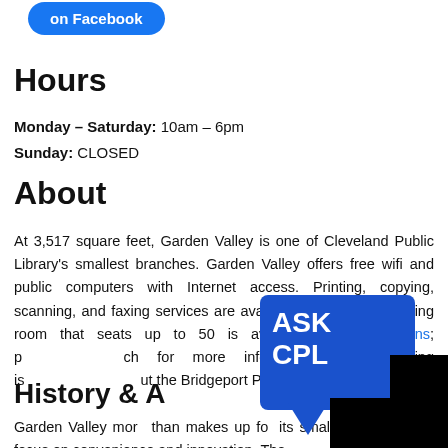[Figure (other): Blue rounded button with white text reading 'on Facebook']
Hours
Monday – Saturday: 10am – 6pm
Sunday: CLOSED
About
At 3,517 square feet, Garden Valley is one of Cleveland Public Library's smallest branches. Garden Valley offers free wifi and public computers with Internet access. Printing, copying, scanning, and faxing services are available for a fee. A meeting room that seats up to 50 is available for reservations; p[...] ch for more information. Free parking is[...] ut the Bridgeport Place Plaza.
[Figure (logo): ASK CPL speech bubble logo in blue with white bold text]
History & A[...]
Garden Valley more than makes up for its small size through a focus on convenience and innovation. The